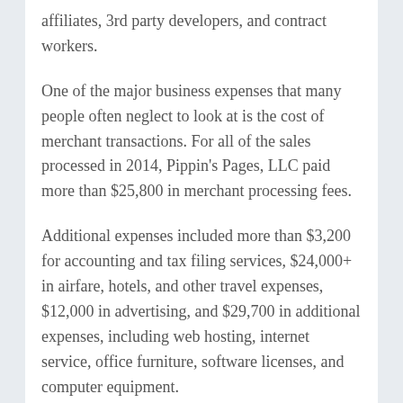affiliates, 3rd party developers, and contract workers.
One of the major business expenses that many people often neglect to look at is the cost of merchant transactions. For all of the sales processed in 2014, Pippin's Pages, LLC paid more than $25,800 in merchant processing fees.
Additional expenses included more than $3,200 for accounting and tax filing services, $24,000+ in airfare, hotels, and other travel expenses, $12,000 in advertising, and $29,700 in additional expenses, including web hosting, internet service, office furniture, software licenses, and computer equipment.